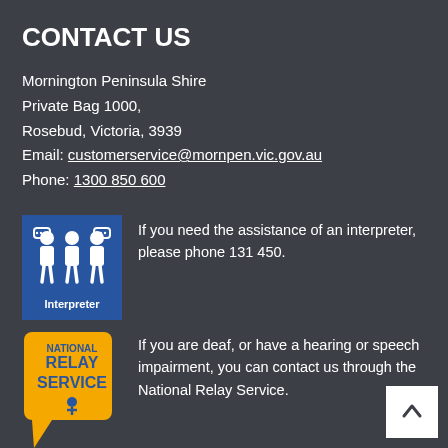CONTACT US
Mornington Peninsula Shire
Private Bag 1000,
Rosebud, Victoria, 3939
Email: customerservice@mornpen.vic.gov.au
Phone: 1300 850 600
[Figure (logo): Interpreter logo — blue square with three figures and speech bubbles, white text 'Interpreter' below]
If you need the assistance of an interpreter, please phone 131 450.
[Figure (logo): National Relay Service logo — orange speech bubble with bold text NATIONAL RELAY SERVICE and a small figure]
If you are deaf, or have a hearing or speech impairment, you can contact us through the National Relay Service.